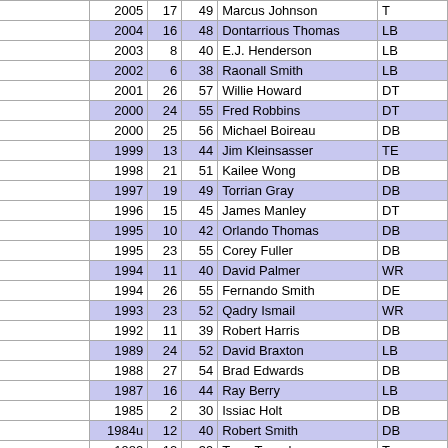|  | Year | Rd | Pick | Name | Pos |
| --- | --- | --- | --- | --- | --- |
|  | 2005 | 17 | 49 | Marcus Johnson | T |
|  | 2004 | 16 | 48 | Dontarrious Thomas | LB |
|  | 2003 | 8 | 40 | E.J. Henderson | LB |
|  | 2002 | 6 | 38 | Raonall Smith | LB |
|  | 2001 | 26 | 57 | Willie Howard | DT |
|  | 2000 | 24 | 55 | Fred Robbins | DT |
|  | 2000 | 25 | 56 | Michael Boireau | DB |
|  | 1999 | 13 | 44 | Jim Kleinsasser | TE |
|  | 1998 | 21 | 51 | Kailee Wong | DB |
|  | 1997 | 19 | 49 | Torrian Gray | DB |
|  | 1996 | 15 | 45 | James Manley | DT |
|  | 1995 | 10 | 42 | Orlando Thomas | DB |
|  | 1995 | 23 | 55 | Corey Fuller | DB |
|  | 1994 | 11 | 40 | David Palmer | WR |
|  | 1994 | 26 | 55 | Fernando Smith | DE |
|  | 1993 | 23 | 52 | Qadry Ismail | WR |
|  | 1992 | 11 | 39 | Robert Harris | DB |
|  | 1989 | 24 | 52 | David Braxton | LB |
|  | 1988 | 27 | 54 | Brad Edwards | DB |
|  | 1987 | 16 | 44 | Ray Berry | LB |
|  | 1985 | 2 | 30 | Issiac Holt | DB |
|  | 1984u | 12 | 40 | Robert Smith | DB |
|  | 1982 | 12 | 39 | Terry Tausch | T |
|  | 1981 | 11 | 39 | Mardye McDole | WR |
|  | 1981 | 17 | 45 | Robin Sendlein | LB |
|  | 1981 | 24 | 52 | Jarvis Redwine | RB |
|  | 1980 | 2 | 30 | Willie Teal | DB |
|  | 1979 | 15 | 43 | Dave Huffman | C |
|  | 1978 | 20 | 48 | John Turner | DB |
|  | 1977 | 27 | 55 | Dennis Swilley | G |